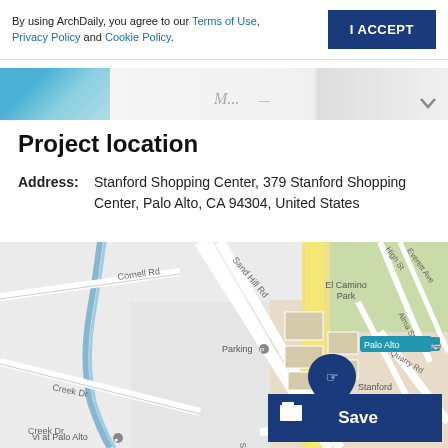By using ArchDaily, you agree to our Terms of Use, Privacy Policy and Cookie Policy.
I ACCEPT
[Figure (screenshot): Partial screenshot of building facade with blue glass and partial text content]
Project location
Address: Stanford Shopping Center, 379 Stanford Shopping Center, Palo Alto, CA 94304, United States
[Figure (map): Google Maps view showing Stanford Shopping Center in Palo Alto, CA with a blue location pin marker. Surrounding streets include Sand Hill Rd, Cornell Rd, Creek Dr, Quarry Rd, Palo Rd. El Camino Park is visible. A 'Save' button overlay is in bottom right.]